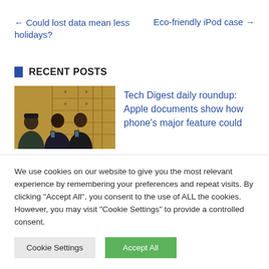← Could lost data mean less holidays?
Eco-friendly iPod case →
RECENT POSTS
[Figure (photo): Three people in an Apple store looking at smartphones]
Tech Digest daily roundup: Apple documents show how phone's major feature could
We use cookies on our website to give you the most relevant experience by remembering your preferences and repeat visits. By clicking "Accept All", you consent to the use of ALL the cookies. However, you may visit "Cookie Settings" to provide a controlled consent.